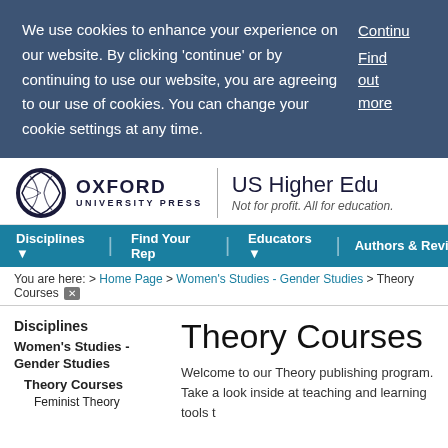We use cookies to enhance your experience on our website. By clicking 'continue' or by continuing to use our website, you are agreeing to our use of cookies. You can change your cookie settings at any time.
Continue
Find out more
[Figure (logo): Oxford University Press logo with circular feather icon and wordmark]
US Higher Education
Not for profit. All for education.
Disciplines ▼  |  Find Your Rep  |  Educators ▼  |  Authors & Revi...
You are here: > Home Page > Women's Studies - Gender Studies > Theory Courses ✕
Disciplines
Women's Studies - Gender Studies
Theory Courses
Feminist Theory
Theory Courses
Welcome to our Theory publishing program. Take a look inside at teaching and learning tools t